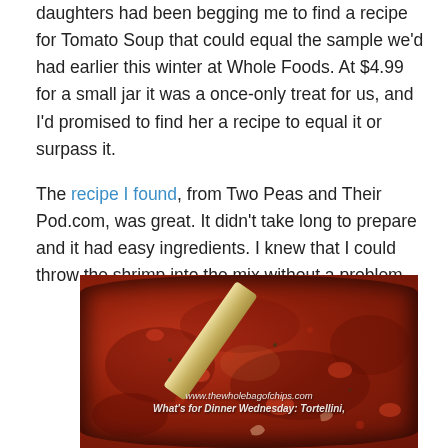daughters had been begging me to find a recipe for Tomato Soup that could equal the sample we'd had earlier this winter at Whole Foods. At $4.99 for a small jar it was a once-only treat for us, and I'd promised to find her a recipe to equal it or surpass it.
The recipe I found, from Two Peas and Their Pod.com, was great. It didn't take long to prepare and it had easy ingredients. I knew that I could throw the shrimp into the mix without a problem.
[Figure (photo): A pot of tomato sauce being stirred with a wooden spatula/spoon. The sauce is chunky and red. Watermark text reads: www.thewholebagofchips.com and What's for Dinner Wednesday: Tortellini,]